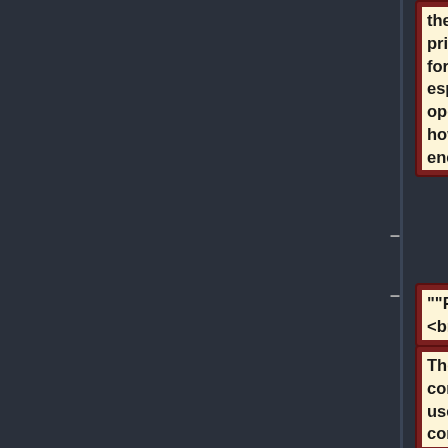the GTA League of Defense.  It is primarily a Tech Container, used for research purposes, especially Zero-G development operations.  It is not very strong, however, and is often a target of enemy attacks. <br><br>
""FS2 Tech Room Description""<br>
The TTC 1 is a civilian cargo container modified for military use. It is a dense-hulled container originally designed